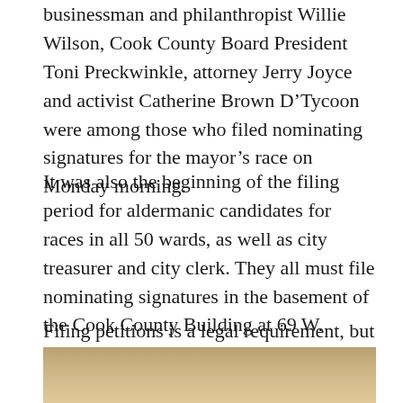businessman and philanthropist Willie Wilson, Cook County Board President Toni Preckwinkle, attorney Jerry Joyce and activist Catherine Brown D'Tycoon were among those who filed nominating signatures for the mayor's race on Monday morning.
It was also the beginning of the filing period for aldermanic candidates for races in all 50 wards, as well as city treasurer and city clerk. They all must file nominating signatures in the basement of the Cook County Building at 69 W. Washington.
Filing petitions is a legal requirement, but it's also rife with political theater.
[Figure (photo): Partial photo of a person, cropped at the bottom of the page, showing the top of a head with light-colored hair against a warm beige/tan background.]